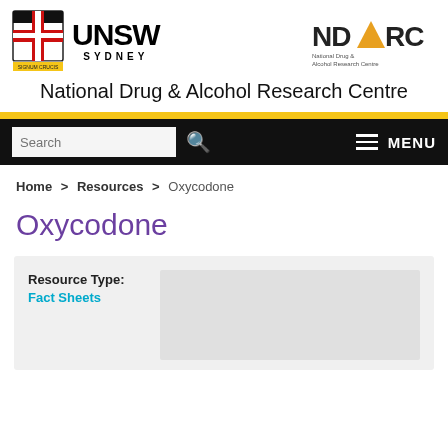[Figure (logo): UNSW Sydney shield logo and UNSW SYDNEY wordmark on left; NDARC National Drug & Alcohol Research Centre logo on right]
National Drug & Alcohol Research Centre
[Figure (screenshot): Navigation bar with search input, search icon, hamburger menu, and MENU text]
Home > Resources > Oxycodone
Oxycodone
Resource Type: Fact Sheets